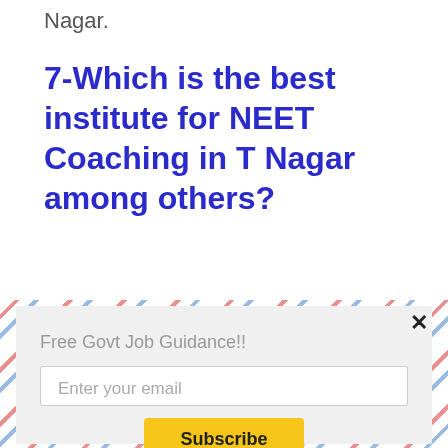Nagar.
7-Which is the best institute for NEET Coaching in T Nagar among others?
Toopers Accademy is the Best NEET Coaching in
[Figure (screenshot): A popup modal with airmail-style diagonal stripe border (red and blue), containing: a close button (×), title 'Free Govt Job Guidance!!', an email input field with placeholder 'Enter your email', a yellow Subscribe button, and 'powered by MailMunch' footer text.]